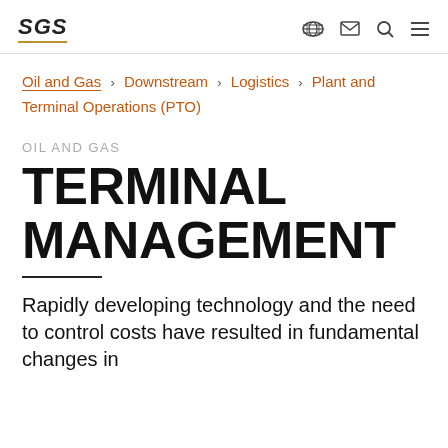SGS | Oil and Gas > Downstream > Logistics > Plant and Terminal Operations (PTO)
OIL AND GAS
TERMINAL MANAGEMENT
Rapidly developing technology and the need to control costs have resulted in fundamental changes in